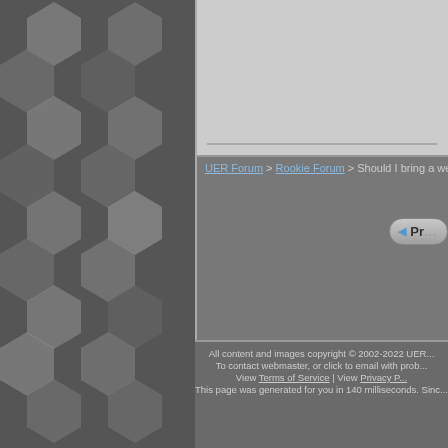[Figure (screenshot): Left panel with dark grey hexagonal pattern background]
UER Forum > Rookie Forum > Should I bring a weapon? (Viewed...
[Figure (illustration): Previous page button (Pr...)]
[Figure (illustration): Poll icon - Add a poll this threa...]
This thread is in a public ca...
All content and images copyright © 2002-2022 UER... To contact webmaster, or click to email with prob... View Terms of Service | View Privacy P... This page was generated for you in 140 milliseconds. Sinc...